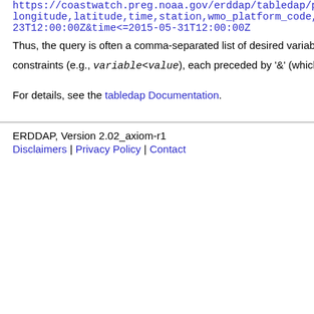https://coastwatch.preg.noaa.gov/erddap/tabledap/pmei longitude,latitude,time,station,wmo_platform_code,T_25 23T12:00:00Z&time<=2015-05-31T12:00:00Z
Thus, the query is often a comma-separated list of desired variable name constraints (e.g., variable<value), each preceded by '&' (which is inte
For details, see the tabledap Documentation.
ERDDAP, Version 2.02_axiom-r1
Disclaimers | Privacy Policy | Contact